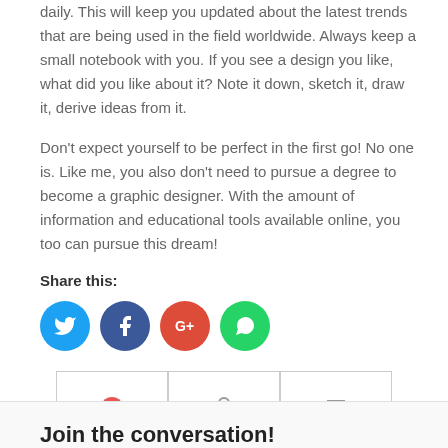daily. This will keep you updated about the latest trends that are being used in the field worldwide. Always keep a small notebook with you. If you see a design you like, what did you like about it? Note it down, sketch it, draw it, derive ideas from it.
Don't expect yourself to be perfect in the first go! No one is. Like me, you also don't need to pursue a degree to become a graphic designer. With the amount of information and educational tools available online, you too can pursue this dream!
Share this:
[Figure (infographic): Social media share icons: Twitter (blue circle), Facebook (dark blue circle), Google+ (red circle), WhatsApp (green circle)]
[Figure (infographic): Three tab boxes with icons: comment bubble, person/profile icon, list/menu icon]
Join the conversation!